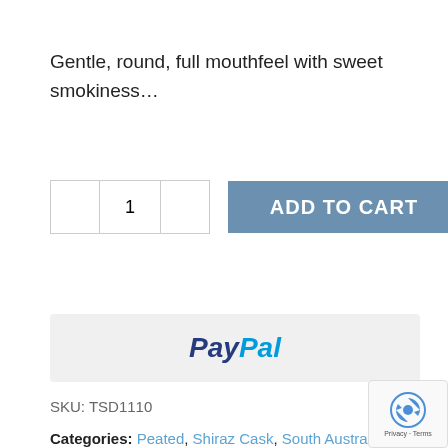Gentle, round, full mouthfeel with sweet smokiness…
[Figure (screenshot): Quantity selector with minus button, number 1, plus button, and Add to Cart button in steel blue]
[Figure (logo): PayPal payment button on light grey background]
SKU: TSD1110
Categories: Peated, Shiraz Cask, South Australia, Tin Shed